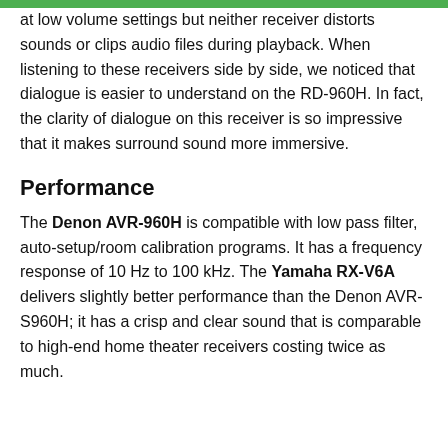at low volume settings but neither receiver distorts sounds or clips audio files during playback. When listening to these receivers side by side, we noticed that dialogue is easier to understand on the RD-960H. In fact, the clarity of dialogue on this receiver is so impressive that it makes surround sound more immersive.
Performance
The Denon AVR-960H is compatible with low pass filter, auto-setup/room calibration programs. It has a frequency response of 10 Hz to 100 kHz. The Yamaha RX-V6A delivers slightly better performance than the Denon AVR-S960H; it has a crisp and clear sound that is comparable to high-end home theater receivers costing twice as much.